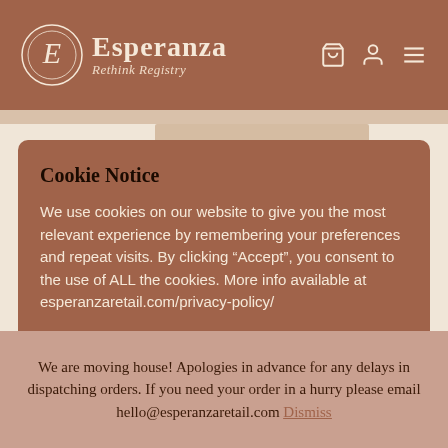[Figure (logo): Esperanza Rethink Registry logo with circular E emblem on terracotta brown header bar with shopping bag, profile, and menu icons on the right]
Cookie Notice
We use cookies on our website to give you the most relevant experience by remembering your preferences and repeat visits. By clicking “Accept”, you consent to the use of ALL the cookies. More info available at esperanzaretail.com/privacy-policy/
Cookie settings   ACCEPT
We are moving house! Apologies in advance for any delays in dispatching orders. If you need your order in a hurry please email hello@esperanzaretail.com Dismiss